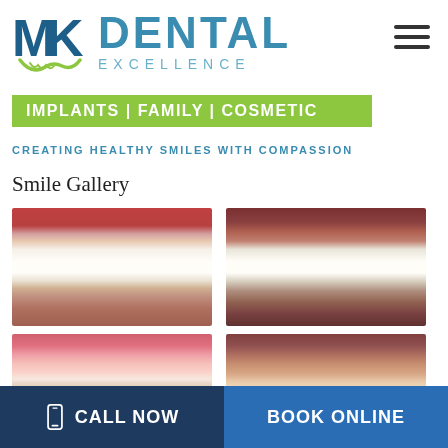[Figure (logo): MK Dental Excellence logo with blue MK letters and tooth icon, blue DENTAL text and teal EXCELLENCE text]
[Figure (infographic): Green banner reading IMPLANTS | FAMILY | COSMETIC]
CREATING HEALTHY SMILES WITH COMPASSION
Smile Gallery
[Figure (photo): Before photo of teeth showing dental condition - upper view]
[Figure (photo): After photo of teeth showing improved dental condition - upper view]
[Figure (photo): Before photo of teeth with inflamed gums - lower view]
[Figure (photo): After photo of teeth showing improved condition - lower view]
CALL NOW   BOOK ONLINE